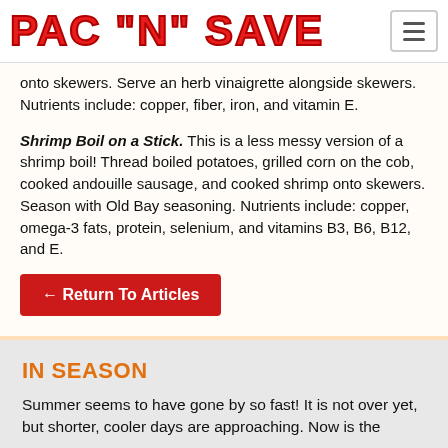PAC "N" SAVE
onto skewers. Serve an herb vinaigrette alongside skewers. Nutrients include: copper, fiber, iron, and vitamin E.
Shrimp Boil on a Stick. This is a less messy version of a shrimp boil! Thread boiled potatoes, grilled corn on the cob, cooked andouille sausage, and cooked shrimp onto skewers. Season with Old Bay seasoning. Nutrients include: copper, omega-3 fats, protein, selenium, and vitamins B3, B6, B12, and E.
← Return To Articles
IN SEASON
Summer seems to have gone by so fast! It is not over yet, but shorter, cooler days are approaching. Now is the